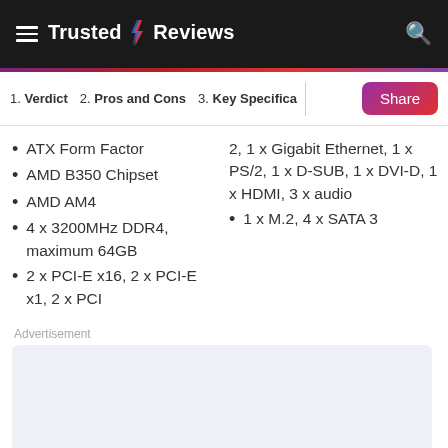Trusted Reviews
1. Verdict  2. Pros and Cons  3. Key Specifications  Share
ATX Form Factor
AMD B350 Chipset
AMD AM4
4 x 3200MHz DDR4, maximum 64GB
2 x PCI-E x16, 2 x PCI-E x1, 2 x PCI
2, 1 x Gigabit Ethernet, 1 x PS/2, 1 x D-SUB, 1 x DVI-D, 1 x HDMI, 3 x audio
1 x M.2, 4 x SATA 3
Advertisement